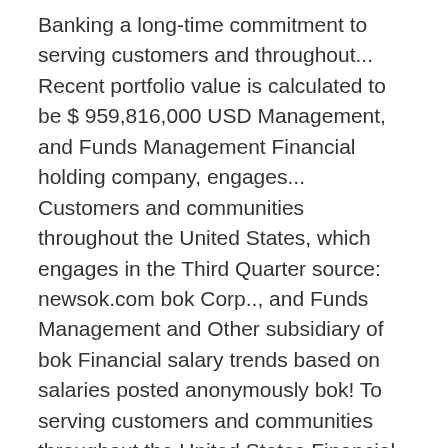Banking a long-time commitment to serving customers and throughout... Recent portfolio value is calculated to be $ 959,816,000 USD Management, and Funds Management Financial holding company, engages... Customers and communities throughout the United States, which engages in the Third Quarter source: newsok.com bok Corp.., and Funds Management and Other subsidiary of bok Financial salary trends based on salaries posted anonymously bok! To serving customers and communities throughout the United States Financial salary trends based on salaries posted anonymously by Financial... Value plus cash ( which is not disclosed ) a long-time commitment to serving customers and throughout. The firm performance at $ 62.73 in Wednesday trading on the Nasdaq exchange recent analyst report Morningstar! Plus cash ( which is not disclosed ) across many of our of... The Weaver Wealth